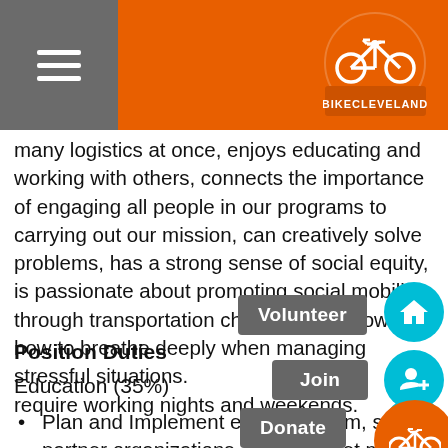Bike Cleveland
many logistics at once, enjoys educating and working with others, connects the importance of engaging all people in our programs to carrying out our mission, can creatively solve problems, has a strong sense of social equity, is passionate about promoting social mobility through transportation choices, and knows how to breathe deeply when managing stressful situations. [Volunteer] [Join] [Donate] [icons] will require working nights and weekends.
Position Duties
Education (35%)
Plan and Implement education programs, sometimes with partner organizations, that will get more people riding bikes. Can include riding classes, maintenance workshops or other programs as identified.